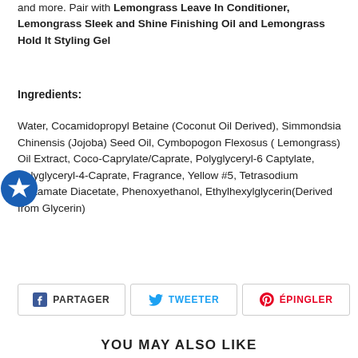and more. Pair with Lemongrass Leave In Conditioner, Lemongrass Sleek and Shine Finishing Oil and Lemongrass Hold It Styling Gel
Ingredients:
Water, Cocamidopropyl Betaine (Coconut Oil Derived), Simmondsia Chinensis (Jojoba) Seed Oil, Cymbopogon Flexosus ( Lemongrass) Oil Extract, Coco-Caprylate/Caprate, Polyglyceryl-6 Captylate, Polyglyceryl-4-Caprate, Fragrance, Yellow #5, Tetrasodium Glutamate Diacetate, Phenoxyethanol, Ethylhexylglycerin(Derived from Glycerin)
PARTAGER   TWEETER   ÉPINGLER
YOU MAY ALSO LIKE